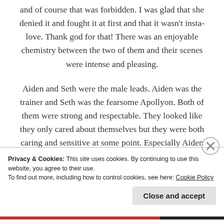and of course that was forbidden. I was glad that she denied it and fought it at first and that it wasn't insta-love. Thank god for that! There was an enjoyable chemistry between the two of them and their scenes were intense and pleasing.
Aiden and Seth were the male leads. Aiden was the trainer and Seth was the fearsome Apollyon. Both of them were strong and respectable. They looked like they only cared about themselves but they were both caring and sensitive at some point. Especially Aiden who had a life similar to Alex and he felt like he
Privacy & Cookies: This site uses cookies. By continuing to use this website, you agree to their use.
To find out more, including how to control cookies, see here: Cookie Policy
Close and accept